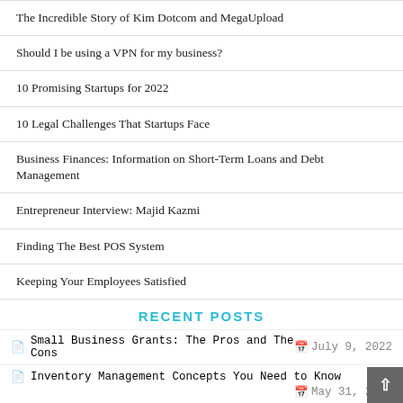The Incredible Story of Kim Dotcom and MegaUpload
Should I be using a VPN for my business?
10 Promising Startups for 2022
10 Legal Challenges That Startups Face
Business Finances: Information on Short-Term Loans and Debt Management
Entrepreneur Interview: Majid Kazmi
Finding The Best POS System
Keeping Your Employees Satisfied
RECENT POSTS
Small Business Grants: The Pros and The Cons   July 9, 2022
Inventory Management Concepts You Need to Know   May 31, 2022
How to Hire and Manage a Virtual Team   April 20, 2022
Tips to Reduce Remote Work Fatigue   March 30, 2022